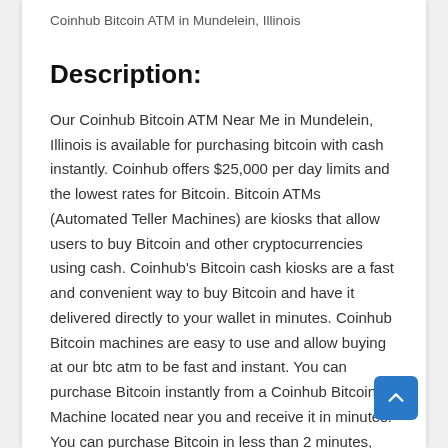Coinhub Bitcoin ATM in Mundelein, Illinois
Description:
Our Coinhub Bitcoin ATM Near Me in Mundelein, Illinois is available for purchasing bitcoin with cash instantly. Coinhub offers $25,000 per day limits and the lowest rates for Bitcoin. Bitcoin ATMs (Automated Teller Machines) are kiosks that allow users to buy Bitcoin and other cryptocurrencies using cash. Coinhub's Bitcoin cash kiosks are a fast and convenient way to buy Bitcoin and have it delivered directly to your wallet in minutes. Coinhub Bitcoin machines are easy to use and allow buying at our btc atm to be fast and instant. You can purchase Bitcoin instantly from a Coinhub Bitcoin Machine located near you and receive it in minutes. You can purchase Bitcoin in less than 2 minutes, and you don't need an account. To purchase